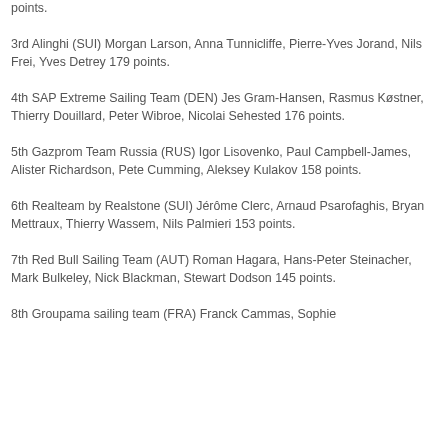points.
3rd Alinghi (SUI) Morgan Larson, Anna Tunnicliffe, Pierre-Yves Jorand, Nils Frei, Yves Detrey 179 points.
4th SAP Extreme Sailing Team (DEN) Jes Gram-Hansen, Rasmus Køstner, Thierry Douillard, Peter Wibroe, Nicolai Sehested 176 points.
5th Gazprom Team Russia (RUS) Igor Lisovenko, Paul Campbell-James, Alister Richardson, Pete Cumming, Aleksey Kulakov 158 points.
6th Realteam by Realstone (SUI) Jérôme Clerc, Arnaud Psarofaghis, Bryan Mettraux, Thierry Wassem, Nils Palmieri 153 points.
7th Red Bull Sailing Team (AUT) Roman Hagara, Hans-Peter Steinacher, Mark Bulkeley, Nick Blackman, Stewart Dodson 145 points.
8th Groupama sailing team (FRA) Franck Cammas, Sophie...